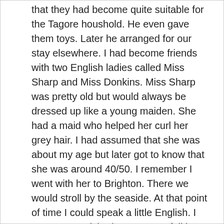that they had become quite suitable for the Tagore houshold. He even gave them toys. Later he arranged for our stay elsewhere. I had become friends with two English ladies called Miss Sharp and Miss Donkins. Miss Sharp was pretty old but would always be dressed up like a young maiden. She had a maid who helped her curl her grey hair. I had assumed that she was about my age but later got to know that she was around 40/50. I remember I went with her to Brighton. There we would stroll by the seaside. At that point of time I could speak a little English. I was so astonished to see snowfall in England for the first time that I ran outside in a thin silk sari and started picking up the snow as it fell. Everyone asked me not to go out at that time. As a result I fell very sick. There was a swelling in the upper arm and a scab inside. Lord Lister, the same man who later invented the antiseptic, had treated me at that time. A long time later, after I returned to